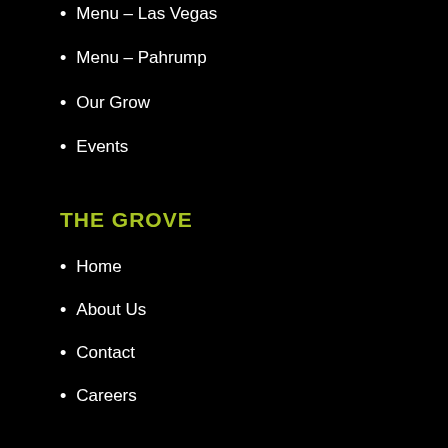Menu – Las Vegas
Menu – Pahrump
Our Grow
Events
THE GROVE
Home
About Us
Contact
Careers
BLOG
Coming Soon